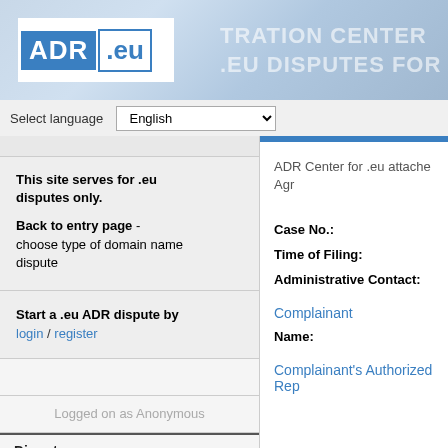[Figure (logo): ADR.eu logo on a cloud/sky banner with text ARBITRATION CENTER FOR .EU DISPUTES]
Select language  English
This site serves for .eu disputes only.
Back to entry page - choose type of domain name dispute
Start a .eu ADR dispute by login / register
Logged on as Anonymous
Dispute
Complaint
Response
ADR Center for .eu attached Agreement
Case No.:
Time of Filing:
Administrative Contact:
Complainant
Name:
Complainant's Authorized Rep